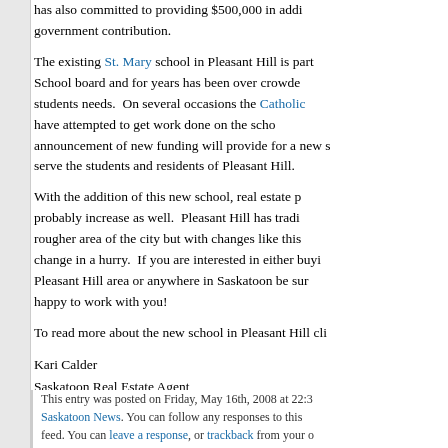has also committed to providing $500,000 in additional government contribution.
The existing St. Mary school in Pleasant Hill is part of the School board and for years has been over crowded past the students needs. On several occasions the Catholic have attempted to get work done on the school. This announcement of new funding will provide for a new school to serve the students and residents of Pleasant Hill.
With the addition of this new school, real estate prices will probably increase as well. Pleasant Hill has traditionally been a rougher area of the city but with changes like this that could change in a hurry. If you are interested in either buying in the Pleasant Hill area or anywhere in Saskatoon be sure we are happy to work with you!
To read more about the new school in Pleasant Hill cli
Kari Calder
Saskatoon Real Estate Agent
Century 21 Conexus Realty Ltd.
This entry was posted on Friday, May 16th, 2008 at 22:3 Saskatoon News. You can follow any responses to this feed. You can leave a response, or trackback from your o